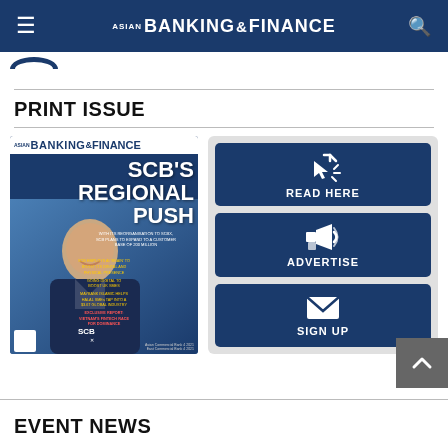ASIAN BANKING & FINANCE
PRINT ISSUE
[Figure (illustration): Asian Banking & Finance magazine cover featuring a man in a suit with text 'SCB's Regional Push']
[Figure (infographic): Three action buttons: READ HERE, ADVERTISE, SIGN UP on dark blue background]
EVENT NEWS